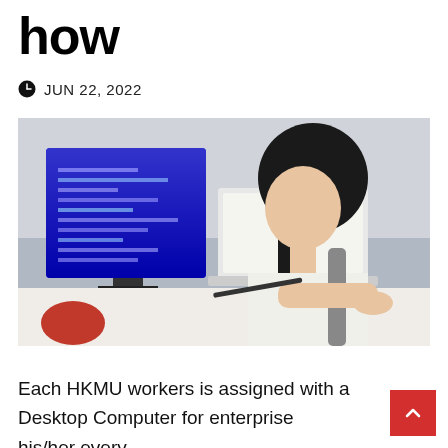how
JUN 22, 2022
[Figure (photo): A young woman with long black hair sits at a desk working at a desktop computer with a large monitor displaying code on a blue background. A laptop is open in front of her. Office environment.]
Each HKMU workers is assigned with a Desktop Computer for enterprise his/her every